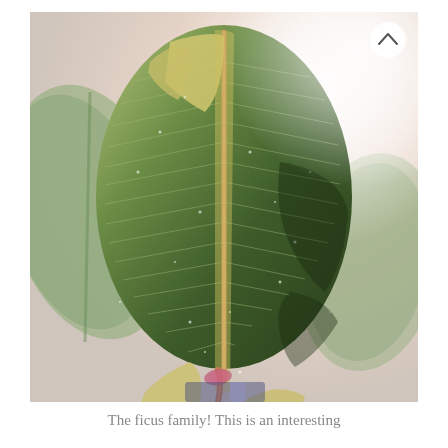[Figure (photo): Close-up photograph of a variegated ficus (rubber plant) leaf showing green and creamy yellow/white variegation pattern with a reddish-pink stem (petiole). The background shows additional leaves in soft focus with a warm, bright, slightly overexposed light. A small circular chevron/up-arrow button is visible in the upper right corner of the image.]
The ficus family! This is an interesting